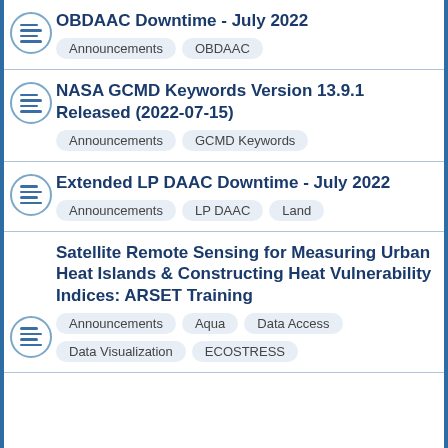OBDAAC Downtime - July 2022
NASA GCMD Keywords Version 13.9.1 Released (2022-07-15)
Extended LP DAAC Downtime - July 2022
Satellite Remote Sensing for Measuring Urban Heat Islands & Constructing Heat Vulnerability Indices: ARSET Training